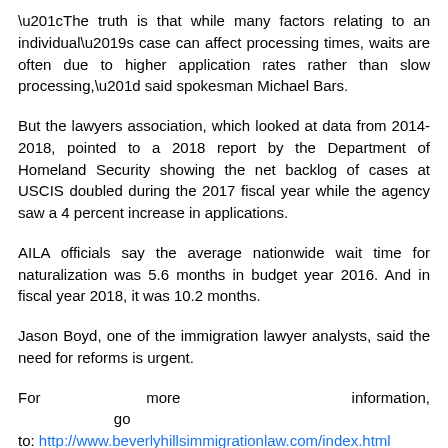“The truth is that while many factors relating to an individual’s case can affect processing times, waits are often due to higher application rates rather than slow processing,” said spokesman Michael Bars.
But the lawyers association, which looked at data from 2014-2018, pointed to a 2018 report by the Department of Homeland Security showing the net backlog of cases at USCIS doubled during the 2017 fiscal year while the agency saw a 4 percent increase in applications.
AILA officials say the average nationwide wait time for naturalization was 5.6 months in budget year 2016. And in fiscal year 2018, it was 10.2 months.
Jason Boyd, one of the immigration lawyer analysts, said the need for reforms is urgent.
For more information, go to: http://www.beverlyhillsimmigrationlaw.com/index.html